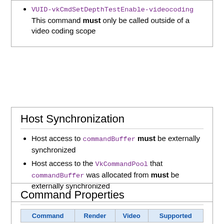VUID-vkCmdSetDepthTestEnable-videocoding
This command must only be called outside of a video coding scope
Host Synchronization
Host access to commandBuffer must be externally synchronized
Host access to the VkCommandPool that commandBuffer was allocated from must be externally synchronized
Command Properties
| Command | Render | Video | Supported |
| --- | --- | --- | --- |